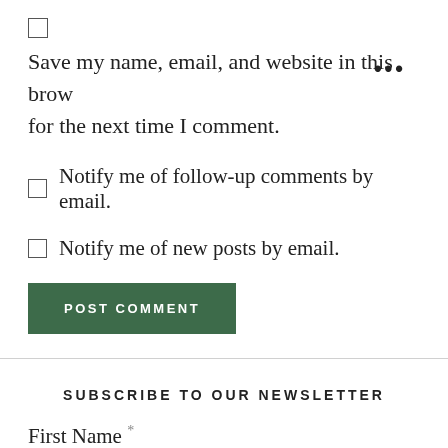Save my name, email, and website in this brow for the next time I comment.
Notify me of follow-up comments by email.
Notify me of new posts by email.
POST COMMENT
SUBSCRIBE TO OUR NEWSLETTER
First Name *